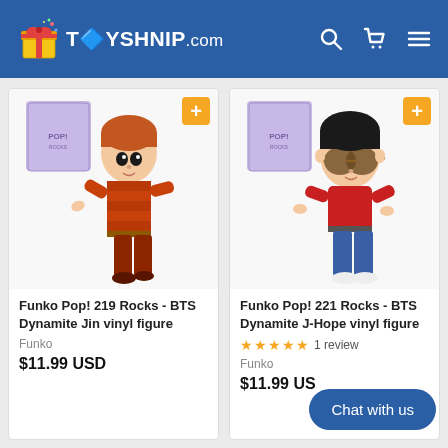TOYSHNIP.com
[Figure (photo): Funko Pop! 219 Rocks - BTS Dynamite Jin vinyl figure product image with box]
Funko Pop! 219 Rocks - BTS Dynamite Jin vinyl figure
Funko
$11.99 USD
[Figure (photo): Funko Pop! 221 Rocks - BTS Dynamite J-Hope vinyl figure product image with box]
Funko Pop! 221 Rocks - BTS Dynamite J-Hope vinyl figure
★★★★★ 1 review
Funko
$11.99 USD
Chat with us